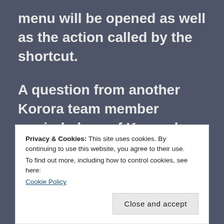menu will be opened as well as the action called by the shortcut.
A question from another Korora team member reminded me of Ksuperkey and looking at the Github page for the project I noted a comment that while it was written for KDE it should
Privacy & Cookies: This site uses cookies. By continuing to use this website, you agree to their use.
To find out more, including how to control cookies, see here:
Cookie Policy
Close and accept